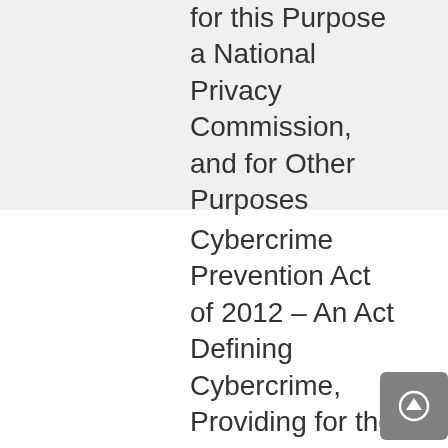for this Purpose a National Privacy Commission, and for Other Purposes
Cybercrime Prevention Act of 2012 – An Act Defining Cybercrime, Providing for the